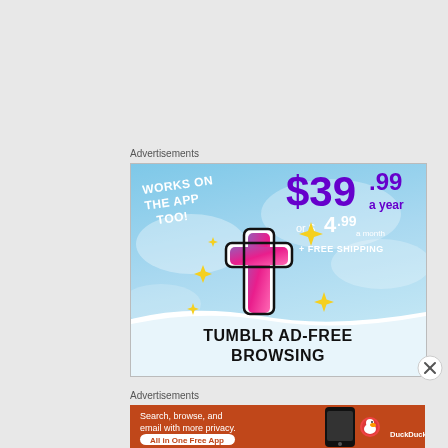Advertisements
[Figure (illustration): Tumblr Ad-Free Browsing advertisement. Blue sky background with Tumblr 't' logo, sparkle stars, price $39.99 a year or $4.99 a month + FREE SHIPPING, text 'WORKS ON THE APP TOO!', bottom white wave with text 'TUMBLR AD-FREE BROWSING']
[Figure (illustration): Close/X button circle]
Advertisements
[Figure (illustration): DuckDuckGo advertisement on orange background. Text: 'Search, browse, and email with more privacy. All in One Free App' with DuckDuckGo logo and phone image]